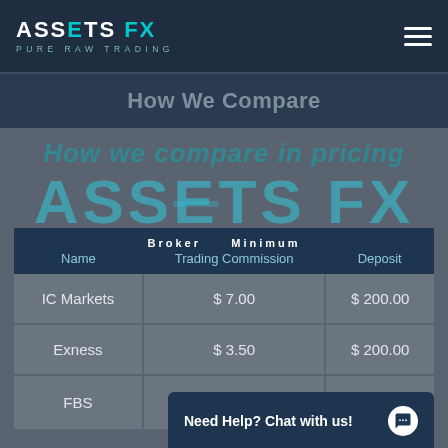[Figure (logo): Assets FX Pure Raw Trading logo in top-left header, teal and white text on dark navy background]
How We Compare
[Figure (infographic): Watermark overlay showing 'How we compare in pricing', 'ASSETS FX' in large teal letters, and 'PURE RAW TRADING' in white spaced letters]
| Broker Name | Trading Commission | Minimum Deposit |
| --- | --- | --- |
| IC Markets | $ 7.00 | $ 200.00 |
| Exness | $ 3.50 | $ 200.00 |
| FBS |  |  |